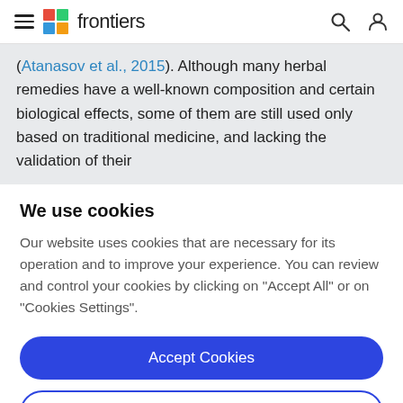frontiers
(Atanasov et al., 2015). Although many herbal remedies have a well-known composition and certain biological effects, some of them are still used only based on traditional medicine, and lacking the validation of their
We use cookies
Our website uses cookies that are necessary for its operation and to improve your experience. You can review and control your cookies by clicking on "Accept All" or on "Cookies Settings".
Accept Cookies
Cookies Settings